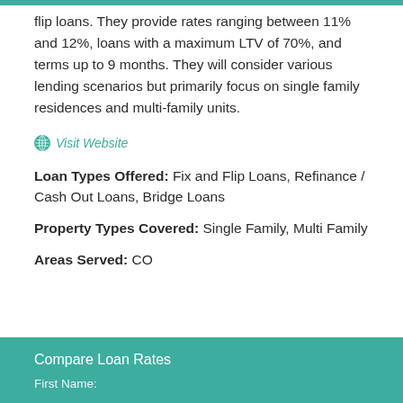flip loans. They provide rates ranging between 11% and 12%, loans with a maximum LTV of 70%, and terms up to 9 months. They will consider various lending scenarios but primarily focus on single family residences and multi-family units.
Visit Website
Loan Types Offered: Fix and Flip Loans, Refinance / Cash Out Loans, Bridge Loans
Property Types Covered: Single Family, Multi Family
Areas Served: CO
Compare Loan Rates
First Name: